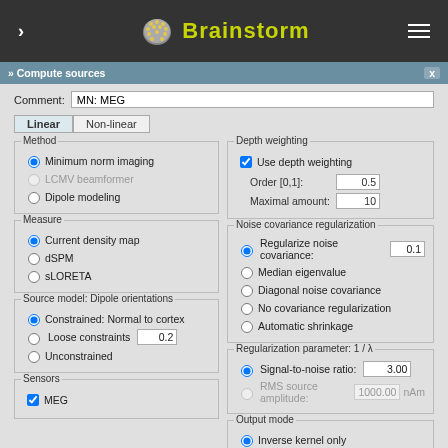[Figure (screenshot): Brainstorm application header bar with logo, navigation arrow, and menu icon]
[Figure (screenshot): Brainstorm 'Compute sources' dialog box with options for Method (Minimum norm imaging, LCMV beamformer, Dipole modeling), Measure (Current density map, dSPM, sLORETA), Source model Dipole orientations (Constrained: Normal to cortex, Loose constraints 0.2, Unconstrained), Sensors (MEG), Depth weighting (Use depth weighting, Order 0.5, Maximal amount 10), Noise covariance regularization (Regularize noise covariance 0.1, Median eigenvalue, Diagonal noise covariance, No covariance regularization, Automatic shrinkage), Regularization parameter 1/lambda (Signal-to-noise ratio 3.00, RMS source amplitude 1000.00 nAm), Output mode (Inverse kernel only, Full results Kernel*Recordings), and buttons Hide details, Cancel, OK]
Depth weighting